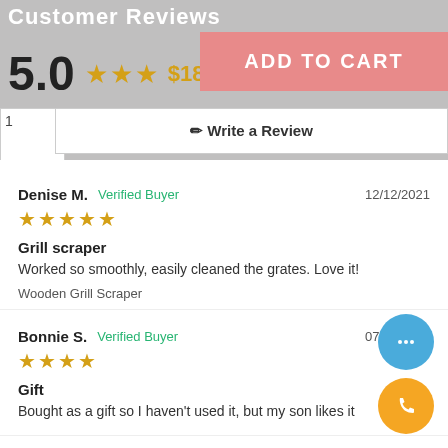Customer Reviews
5.0  ★★★  $18.85  Based on 6 Reviews
ADD TO CART
1  ✏ Write a Review
Denise M.  Verified Buyer  12/12/2021  ★★★★★
Grill scraper
Worked so smoothly, easily cleaned the grates. Love it!
Wooden Grill Scraper
Bonnie S.  Verified Buyer  07/12/2021  ★★★★
Gift
Bought as a gift so I haven't used it, but my son likes it